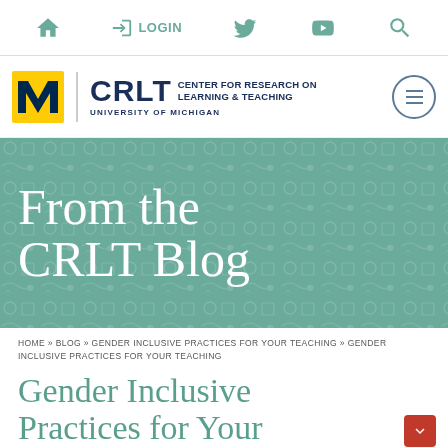HOME LOGIN (Twitter) (YouTube) (Search)
[Figure (logo): University of Michigan CRLT - Center for Research on Learning & Teaching logo with golden M block letter and navy blue text]
[Figure (illustration): Teal hero banner with decorative pattern and large white serif text reading 'From the CRLT Blog']
HOME » BLOG » GENDER INCLUSIVE PRACTICES FOR YOUR TEACHING » GENDER INCLUSIVE PRACTICES FOR YOUR TEACHING
Gender Inclusive Practices for Your